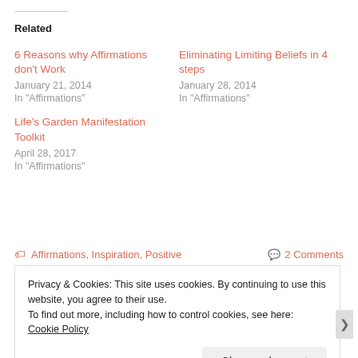Related
6 Reasons why Affirmations don't Work
January 21, 2014
In "Affirmations"
Eliminating Limiting Beliefs in 4 steps
January 28, 2014
In "Affirmations"
Life's Garden Manifestation Toolkit
April 28, 2017
In "Affirmations"
Affirmations, Inspiration, Positive   2 Comments
Privacy & Cookies: This site uses cookies. By continuing to use this website, you agree to their use.
To find out more, including how to control cookies, see here: Cookie Policy
Close and accept